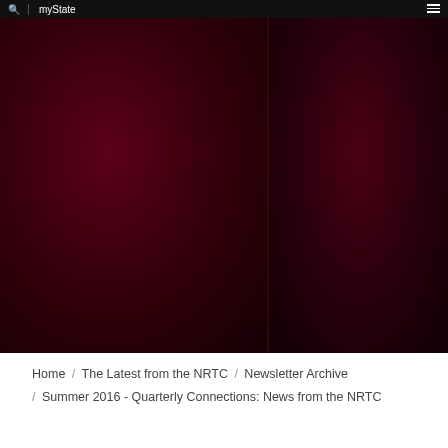🔍 myState ≡
[Figure (photo): Dark crimson/maroon hero image with two panels separated by a vertical divider. The left panel is wider and shows a dark reddish-brown gradient background. The right panel is narrower with a similar dark red tone.]
Home / The Latest from the NRTC / Newsletter Archive / Summer 2016 - Quarterly Connections: News from the NRTC